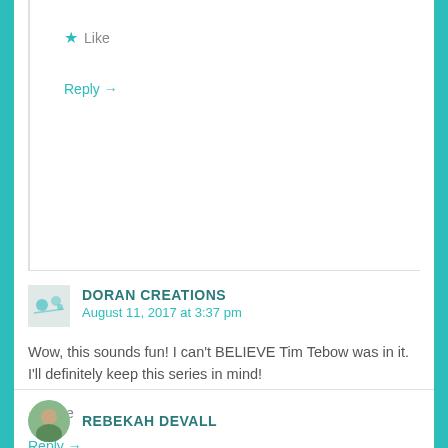★ Like
Reply →
DORAN CREATIONS
August 11, 2017 at 3:37 pm
Wow, this sounds fun! I can't BELIEVE Tim Tebow was in it. I'll definitely keep this series in mind!
★ Like
Reply →
REBEKAH DEVALL